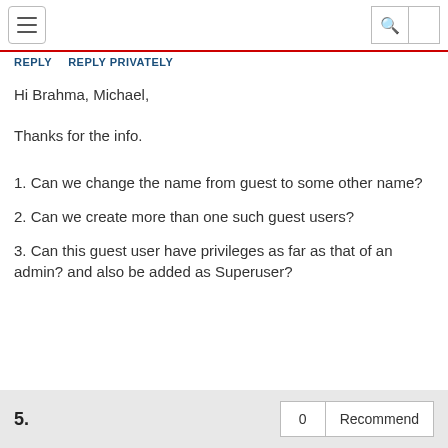REPLY   REPLY PRIVATELY
Hi Brahma, Michael,
Thanks for the info.
1. Can we change the name from guest to some other name?
2. Can we create more than one such guest users?
3. Can this guest user have privileges as far as that of an admin? and also be added as Superuser?
5.   0   Recommend